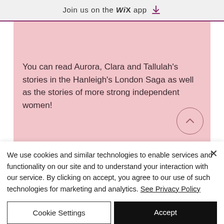Join us on the WiX app ⬇
You can read Aurora, Clara and Tallulah's stories in the Hanleigh's London Saga as well as the stories of more strong independent women!
We use cookies and similar technologies to enable services and functionality on our site and to understand your interaction with our service. By clicking on accept, you agree to our use of such technologies for marketing and analytics. See Privacy Policy